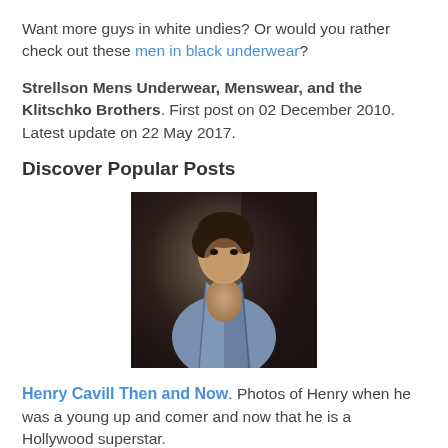Want more guys in white undies? Or would you rather check out these men in black underwear?
Strellson Mens Underwear, Menswear, and the Klitschko Brothers. First post on 02 December 2010. Latest update on 22 May 2017.
Discover Popular Posts
[Figure (photo): Photo of a young man with dark hair, wearing an open blue/grey shirt, posing against a dark background.]
Henry Cavill Then and Now. Photos of Henry when he was a young up and comer and now that he is a Hollywood superstar.